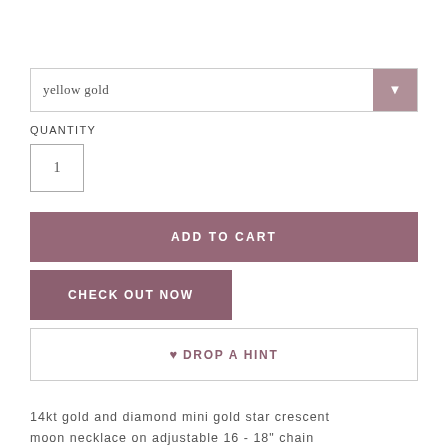yellow gold
QUANTITY
1
ADD TO CART
CHECK OUT NOW
♥ DROP A HINT
14kt gold and diamond mini gold star crescent moon necklace on adjustable 16 - 18" chain
†total diamond weight: .10ct